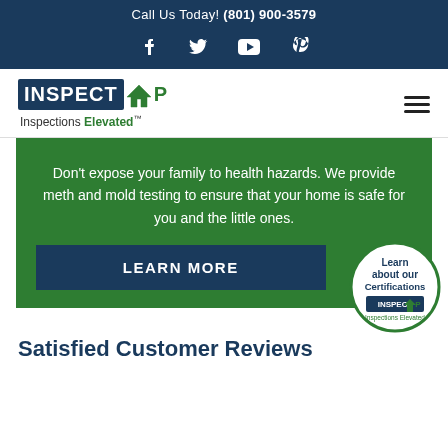Call Us Today! (801) 900-3579
[Figure (logo): Social media icons: Facebook, Twitter, YouTube, Pinterest on dark navy background]
[Figure (logo): InspectUP logo with house icon. Tagline: Inspections Elevated]
Don't expose your family to health hazards. We provide meth and mold testing to ensure that your home is safe for you and the little ones.
LEARN MORE
[Figure (logo): Circular badge: Learn about our Certifications with InspectUP Inspections Elevated logo]
Satisfied Customer Reviews